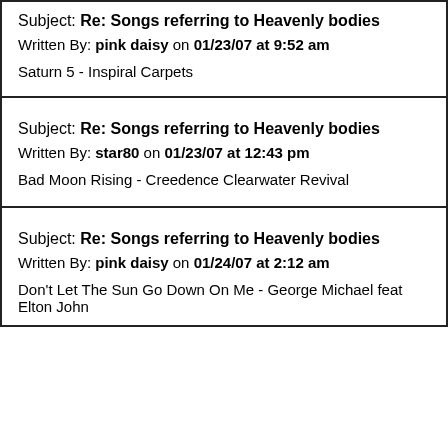Subject: Re: Songs referring to Heavenly bodies
Written By: pink daisy on 01/23/07 at 9:52 am
Saturn 5 - Inspiral Carpets
Subject: Re: Songs referring to Heavenly bodies
Written By: star80 on 01/23/07 at 12:43 pm
Bad Moon Rising - Creedence Clearwater Revival
Subject: Re: Songs referring to Heavenly bodies
Written By: pink daisy on 01/24/07 at 2:12 am
Don't Let The Sun Go Down On Me - George Michael feat Elton John